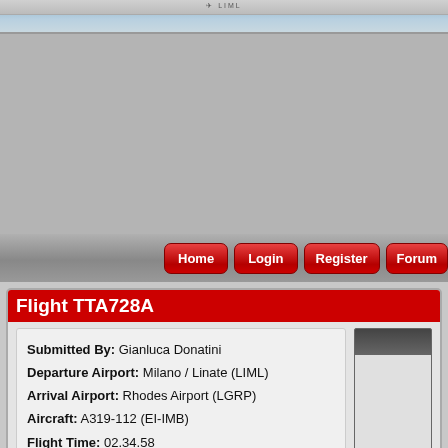[Figure (screenshot): Top browser banner with sky/header image and navigation bar strip]
[Figure (screenshot): Large gray placeholder area (browser content area)]
Home  Login  Register  Forum
Flight TTA728A
Submitted By: Gianluca Donatini
Departure Airport: Milano / Linate (LIML)
Arrival Airport: Rhodes Airport (LGRP)
Aircraft: A319-112 (EI-IMB)
Flight Time: 02.34.58
Date Submitted: 28/07/2021